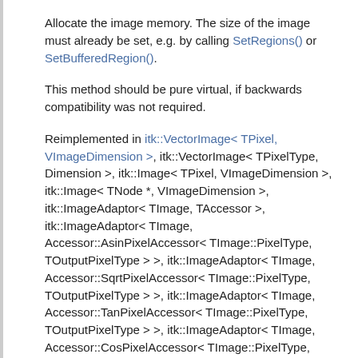Allocate the image memory. The size of the image must already be set, e.g. by calling SetRegions() or SetBufferedRegion().
This method should be pure virtual, if backwards compatibility was not required.
Reimplemented in itk::VectorImage< TPixel, VImageDimension >, itk::VectorImage< TPixelType, Dimension >, itk::Image< TPixel, VImageDimension >, itk::Image< TNode *, VImageDimension >, itk::ImageAdaptor< TImage, TAccessor >, itk::ImageAdaptor< TImage, Accessor::AsinPixelAccessor< TImage::PixelType, TOutputPixelType > >, itk::ImageAdaptor< TImage, Accessor::SqrtPixelAccessor< TImage::PixelType, TOutputPixelType > >, itk::ImageAdaptor< TImage, Accessor::TanPixelAccessor< TImage::PixelType, TOutputPixelType > >, itk::ImageAdaptor< TImage, Accessor::CosPixelAccessor< TImage::PixelType, TOutputPixelType > >, itk::ImageAdaptor< TImage, Accessor::VectorToRGBPixelAccessor<